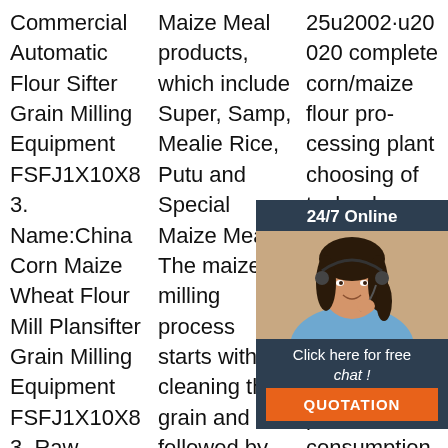Commercial Automatic Flour Sifter Grain Milling Equipment FSFJ1X10X83. Name:China Corn Maize Wheat Flour Mill Plansifter Grain Milling Equipment FSFJ1X10X83. Raw material:Floury: wheat flour, maize flour,
Maize Meal products, which include Super, Samp, Mealie Rice, Putu and Special Maize Meal. The maize milling process starts with cleaning the grain and is followed by conditioning the maize (damping the maize with
25u2002·u20020 complete corn/maize flour processing plant choosing of technology, expertise, equipment structure specificity, reasonable layout, TOP power consumption,
[Figure (other): 24/7 Online chat widget overlay with a photo of a woman wearing a headset, a 'Click here for free chat!' message, and an orange QUOTATION button]